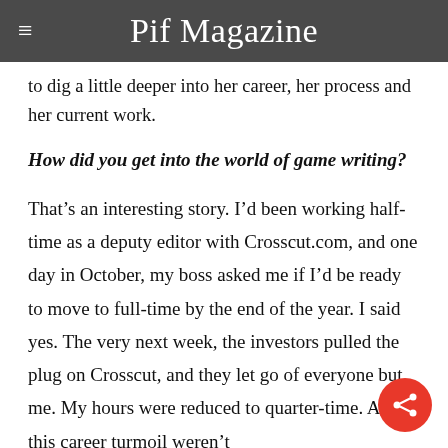Pif Magazine
to dig a little deeper into her career, her process and her current work.
How did you get into the world of game writing?
That's an interesting story. I'd been working half-time as a deputy editor with Crosscut.com, and one day in October, my boss asked me if I'd be ready to move to full-time by the end of the year. I said yes. The very next week, the investors pulled the plug on Crosscut, and they let go of everyone but me. My hours were reduced to quarter-time. As if this career turmoil weren't